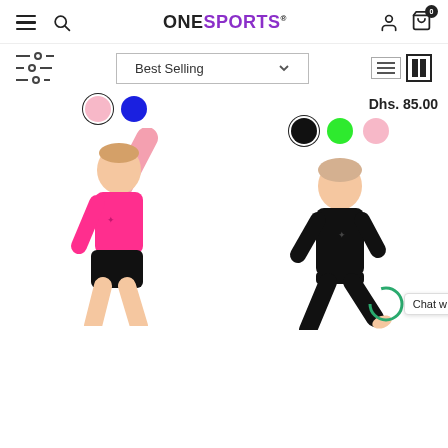ONE SPORTS - Best Selling products page with filter and sort options
[Figure (screenshot): E-commerce product listing page for OneSports showing navigation header with hamburger menu, search, logo, user and cart icons; filter bar with sort dropdown 'Best Selling'; two product listings with color swatches (pink selected + blue; black selected + green + pink) and price Dhs. 85.00; product photos of children in gymnastics/sports wear (pink top with black shorts, black full suit)]
Dhs. 85.00
Chat w...